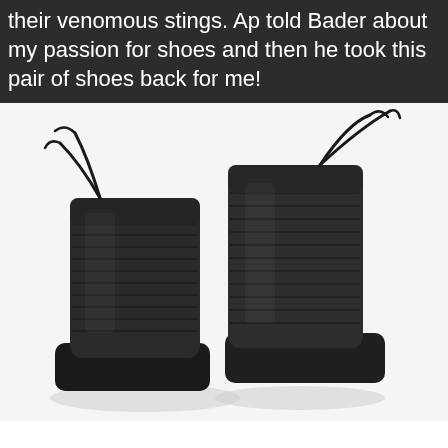their venomous stings. Ap told Bader about my passion for shoes and then he took this pair of shoes back for me!
[Figure (photo): A pair of dark charcoal/black ribbed knit ankle boots with lace-up ties at the top, photographed against a white background. The boots have a square toe and are made of textured knitted fabric.]